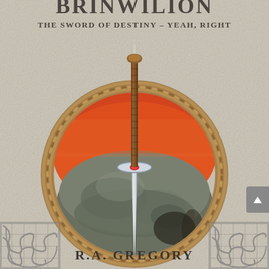BRINWILION
THE SWORD OF DESTINY – YEAH, RIGHT
[Figure (illustration): Book cover illustration: a sword plunged into a stone set inside a circular rope border. The stone shows a red-orange sunset sky above and dark mottled rock below. The sword has a brown wrapped handle with a red gem at the crossguard and a silver blade. Celtic knotwork decorative panels appear at the bottom corners.]
R.A. GREGORY